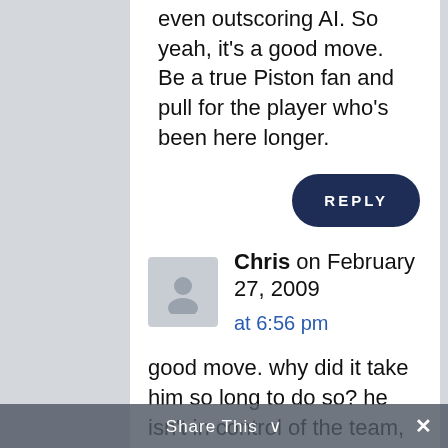even outscoring AI. So yeah, it's a good move. Be a true Piston fan and pull for the player who's been here longer.
REPLY
Chris on February 27, 2009 at 6:56 pm
good move. why did it take him so long to do so? he isn't in control of the team, the players are. looking back to the press conference curry had before the season
Share This